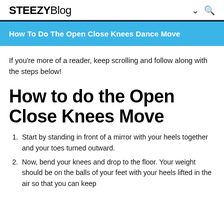STEEZYBlog
How To Do The Open Close Knees Dance Move
If you're more of a reader, keep scrolling and follow along with the steps below!
How to do the Open Close Knees Move
Start by standing in front of a mirror with your heels together and your toes turned outward.
Now, bend your knees and drop to the floor. Your weight should be on the balls of your feet with your heels lifted in the air so that you can keep